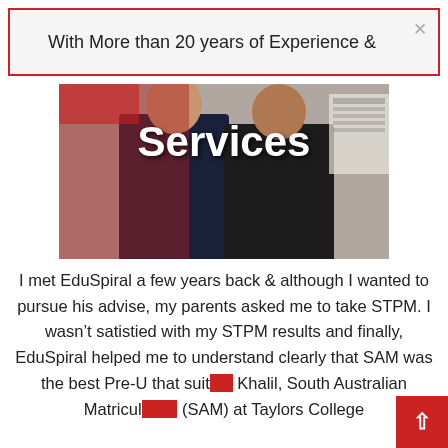With More than 20 years of Experience &
[Figure (photo): Two men standing together in front of a red backdrop, with the word 'Services' overlaid in large white bold text at the top of the image. A notice board is visible in the background on the right.]
I met EduSpiral a few years back & although I wanted to pursue his advise, my parents asked me to take STPM. I wasn't satistied with my STPM results and finally, EduSpiral helped me to understand clearly that SAM was the best Pre-U that suit... Khalil, South Australian Matricul... (SAM) at Taylors College